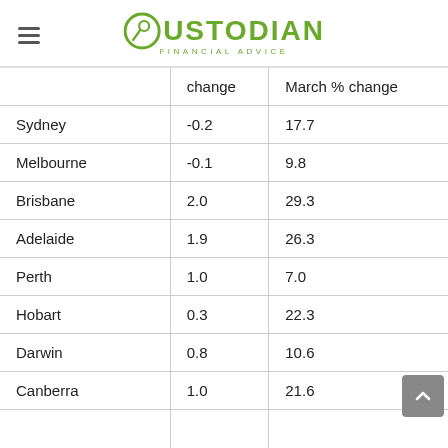[Figure (logo): Custodian Financial Advice logo with green text and circular icon]
|  | change | March % change |
| --- | --- | --- |
| Sydney | -0.2 | 17.7 |
| Melbourne | -0.1 | 9.8 |
| Brisbane | 2.0 | 29.3 |
| Adelaide | 1.9 | 26.3 |
| Perth | 1.0 | 7.0 |
| Hobart | 0.3 | 22.3 |
| Darwin | 0.8 | 10.6 |
| Canberra | 1.0 | 21.6 |